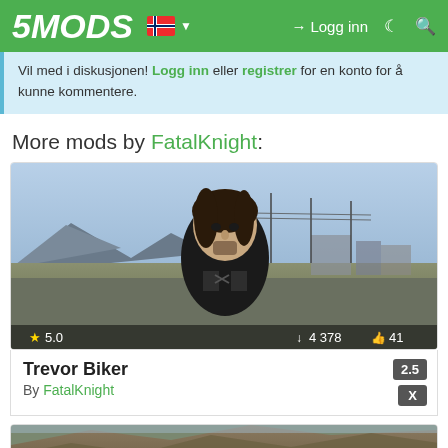5MODS | Logg inn | (Norwegian flag) | (dark mode icon) | (search icon)
Vil med i diskusjonen! Logg inn eller registrer for en konto for å kunne kommentere.
More mods by FatalKnight:
[Figure (screenshot): GTA V screenshot showing a character named Trevor in biker clothing, standing outdoors with mountains and industrial buildings in background. Stats overlay shows: star 5.0, download 4 378, like 41]
Trevor Biker 2.5
By FatalKnight X
[Figure (screenshot): Partial view of another mod card showing a rocky outdoor scene from GTA V]